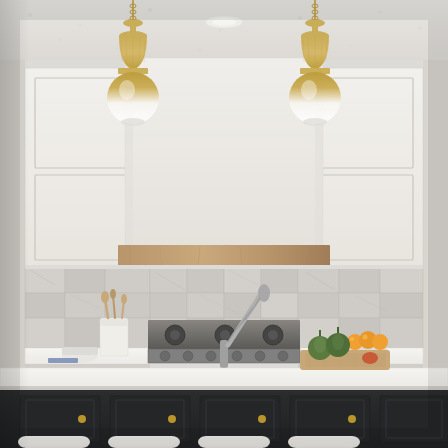[Figure (photo): Interior kitchen photo showing white shaker cabinets, a large white range hood with a warm wood accent beam at the bottom, marble subway tile backsplash, stainless steel professional range cooktop, gooseneck faucet, white quartz countertops, two large brass and white globe pendant lights hanging on chains from the ceiling, kitchen utensils in a white crock on the left counter, a bowl of oranges on the right counter, artichokes and a wooden cutting board on the island in the foreground, and a dark charcoal island base with brass hardware and white upholstered stools at the bottom.]